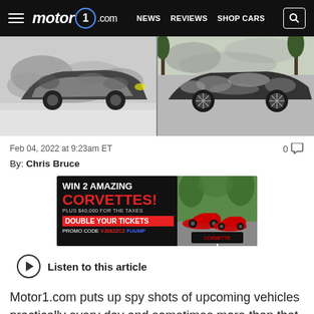motor1.com  NEWS  REVIEWS  SHOP CARS
[Figure (photo): Two camouflaged spy-shot prototype vehicles side by side. Left: a crossover SUV with black-and-white camouflage wrap in snowy conditions. Right: a sedan with black-and-white camouflage wrap on a road.]
Feb 04, 2022 at 9:23am ET
0 comments
By: Chris Bruce
[Figure (photo): Advertisement banner: WIN 2 AMAZING CORVETTES! PLUS $40,000 FOR THE TAXES. DOUBLE YOUR TICKETS. PROMO CODE VJ0822C2. Corvette Dream Giveaway logo.]
Listen to this article
Motor1.com puts up spy shots of upcoming vehicles practically every day and sometimes more than that. If